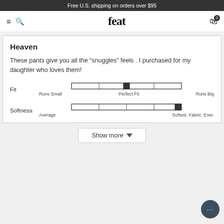Free U.S. shipping on orders over $95
[Figure (screenshot): Navigation bar with hamburger menu, search icon, 'feat' logo, and cart icon with badge '0']
Heaven
These pants give you all the “snuggles” feels . I purchased for my daughter who loves them!
[Figure (infographic): Fit slider from Runs Small to Perfect Fit to Runs Big, with indicator near center (Perfect Fit)]
[Figure (infographic): Softness slider from Average to Softest. Fabric. Ever., with indicator at far right]
Show more